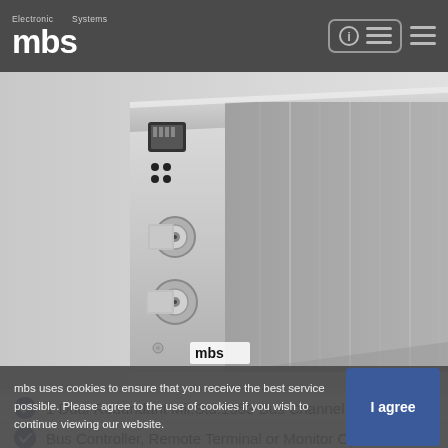[Figure (logo): MBS Electronic Systems logo with 'mbs' text in white on dark grey header bar]
[Figure (photo): MBS electronic device (Mil.Std.1553 bus channel unit) showing silver/aluminium enclosure with BNC connectors, Ethernet port, and mbs branding, photographed at an angle on grey background]
1 Dual Redundant Mil.Std.1553 Bus Channel
Bus Controller, Remote Terminal or Monitor Operation
mbs uses cookies to ensure that you receive the best service possible. Please agree to the use of cookies if you wish to continue viewing our website.